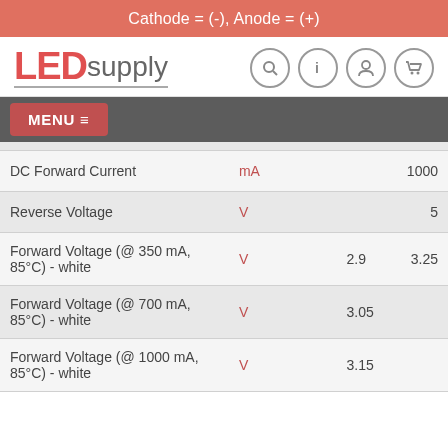Cathode = (-), Anode = (+)
[Figure (logo): LEDsupply logo with red LED text and grey supply text, with navigation icons (search, info, user, cart)]
MENU ≡
| Parameter | Unit |  | Typical | Max |
| --- | --- | --- | --- | --- |
| DC Forward Current | mA |  |  | 1000 |
| Reverse Voltage | V |  |  | 5 |
| Forward Voltage (@ 350 mA, 85°C) - white | V |  | 2.9 | 3.25 |
| Forward Voltage (@ 700 mA, 85°C) - white | V |  | 3.05 |  |
| Forward Voltage (@ 1000 mA, 85°C) - white | V |  | 3.15 |  |